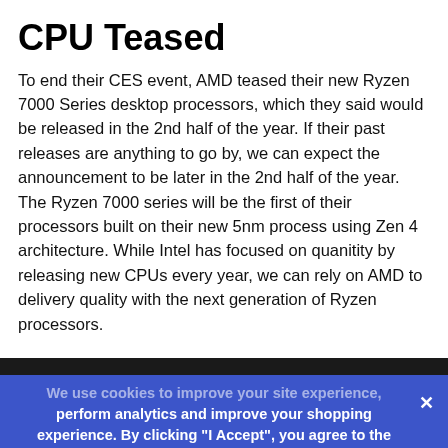CPU Teased
To end their CES event, AMD teased their new Ryzen 7000 Series desktop processors, which they said would be released in the 2nd half of the year. If their past releases are anything to go by, we can expect the announcement to be later in the 2nd half of the year. The Ryzen 7000 series will be the first of their processors built on their new 5nm process using Zen 4 architecture. While Intel has focused on quanitity by releasing new CPUs every year, we can rely on AMD to delivery quality with the next generation of Ryzen processors.
[Figure (screenshot): Dark header bar of a website, partially visible at the bottom of the article.]
We use cookies to improve your site experience, perform analytics and improve your shopping experience. By clicking "I Accept", you agree to the storing of cookies on your device.
I Accept